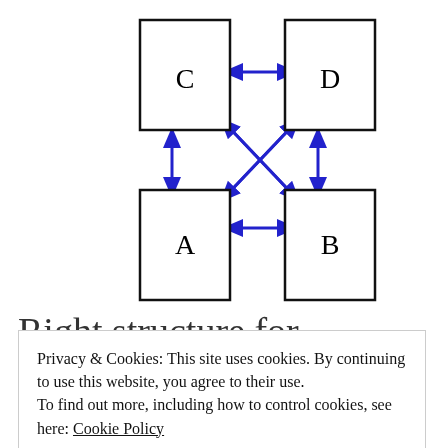[Figure (network-graph): Four boxes labeled C (top-left), D (top-right), A (bottom-left), B (bottom-right) connected by blue double-headed arrows: C-D horizontal, A-B horizontal, C-A vertical, D-B vertical, and diagonal cross connections C-B and D-A.]
Right structure for backstack
Privacy & Cookies: This site uses cookies. By continuing to use this website, you agree to their use.
To find out more, including how to control cookies, see here: Cookie Policy
Close and accept